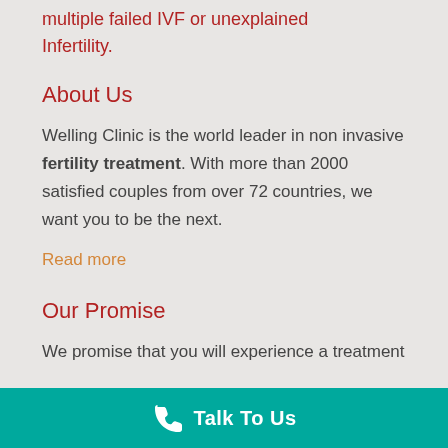multiple failed IVF or unexplained Infertility.
About Us
Welling Clinic is the world leader in non invasive fertility treatment. With more than 2000 satisfied couples from over 72 countries, we want you to be the next.
Read more
Our Promise
We promise that you will experience a treatment
Talk To Us